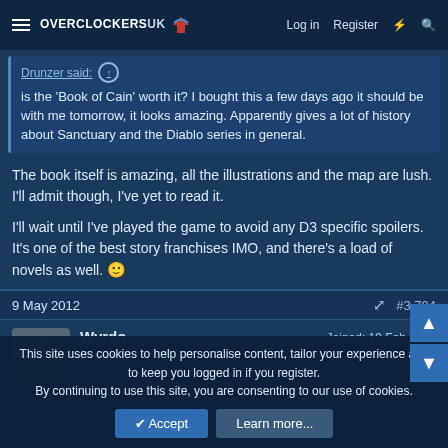Overclockers UK — Log in  Register
Drunzer said: is the 'Book of Cain' worth it? I bought this a few days ago it should be with me tomorrow, it looks amazing. Apparently gives a lot of history about Sanctuary and the Diablo series in general.
The book itself is amazing, all the illustrations and the map are lush. I'll admit though, I've yet to read it.
I'll wait until I've played the game to avoid any D3 specific spoilers. It's one of the best story franchises IMO, and there's a load of novels as well. 🙂
9 May 2012  #3,794
Wyrdo  Soldato  Joined: 19 Feb 2004  Posts: 15,059
This site uses cookies to help personalise content, tailor your experience and to keep you logged in if you register.
By continuing to use this site, you are consenting to our use of cookies.
✔ Accept   Learn more…